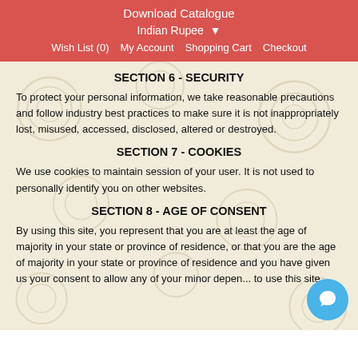Download Catalogue
Indian Rupee
Wish List (0)  My Account  Shopping Cart  Checkout
SECTION 6 - SECURITY
To protect your personal information, we take reasonable precautions and follow industry best practices to make sure it is not inappropriately lost, misused, accessed, disclosed, altered or destroyed.
SECTION 7 - COOKIES
We use cookies to maintain session of your user. It is not used to personally identify you on other websites.
SECTION 8 - AGE OF CONSENT
By using this site, you represent that you are at least the age of majority in your state or province of residence, or that you are the age of majority in your state or province of residence and you have given us your consent to allow any of your minor depen... to use this site.